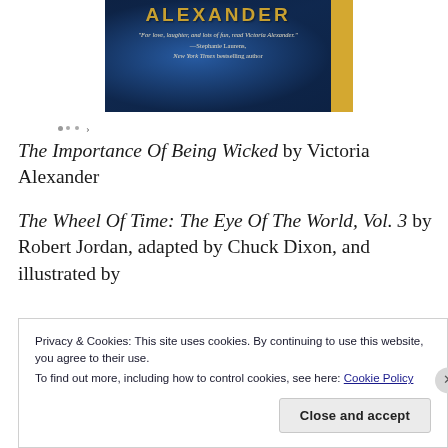[Figure (illustration): Partial book cover showing author name 'ALEXANDER' in gold letters on blue background with quote: 'For love, laughter, and lots of fun, read Victoria Alexander.' —Stephanie Laurens, New York Times bestselling author]
The Importance Of Being Wicked by Victoria Alexander
The Wheel Of Time: The Eye Of The World, Vol. 3 by Robert Jordan, adapted by Chuck Dixon, and illustrated by
Privacy & Cookies: This site uses cookies. By continuing to use this website, you agree to their use.
To find out more, including how to control cookies, see here: Cookie Policy
Close and accept